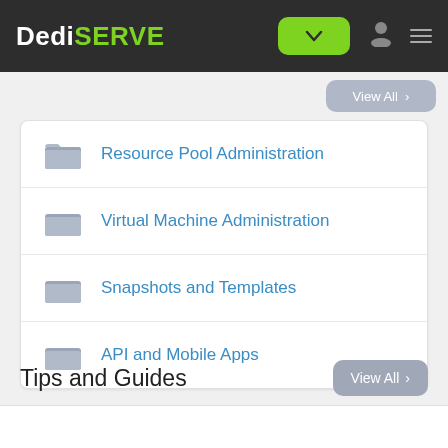DediSERVE
Resource Pool Administration
Virtual Machine Administration
Snapshots and Templates
API and Mobile Apps
Tips and Guides